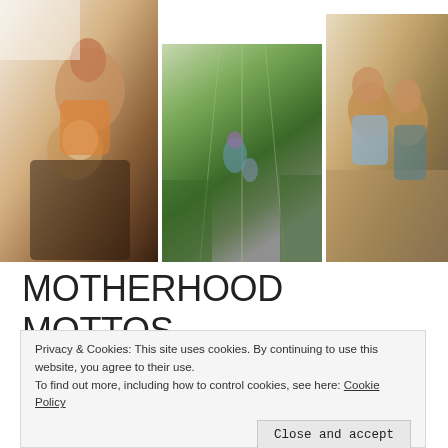[Figure (photo): Collage of three photos: left shows a mother in a yellow top holding a baby on a white background, center shows a woman walking with a child in a garden/greenhouse setting, right shows two young boys kissing/nuzzling cheeks outdoors.]
MOTHERHOOD MOTTOS – MOMMY & ME GIVEAWAY
[Figure (photo): Photo of a child in a golden field, warm sunlight, outdoors.]
Privacy & Cookies: This site uses cookies. By continuing to use this website, you agree to their use.
To find out more, including how to control cookies, see here: Cookie Policy
Close and accept